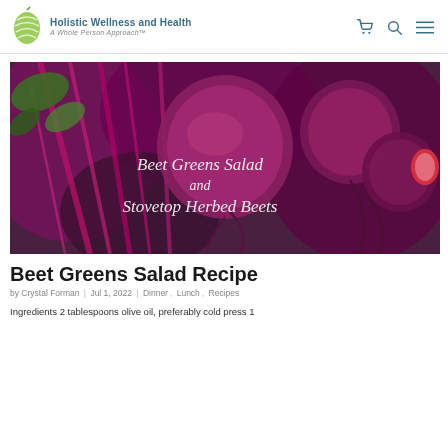Holistic Wellness and Health — A Whole Person Approach™
[Figure (photo): Close-up photo of fresh beets with stems and leaves, deep magenta/purple color. Overlaid white text reads: 'Beet Greens Salad and Stovetop Herbed Beets']
Beet Greens Salad Recipe
by Crystal Forman | Jul 1, 2022 | Dinner, Lunch, Recipes
Ingredients 2 tablespoons olive oil, preferably cold press 1